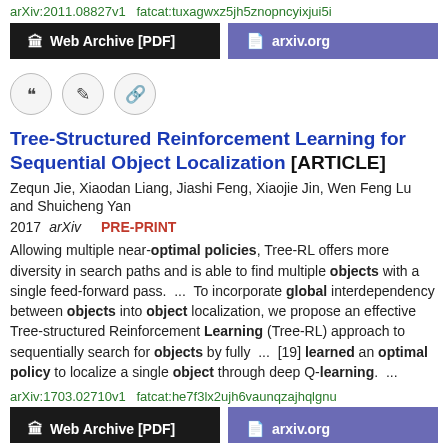arXiv:2011.08827v1  fatcat:tuxagwxz5jh5znopncyixjui5i
[Figure (other): Two buttons: 'Web Archive [PDF]' (black background) and 'arxiv.org' (purple background)]
[Figure (other): Three circular icon buttons: quote, edit, and link]
Tree-Structured Reinforcement Learning for Sequential Object Localization [ARTICLE]
Zequn Jie, Xiaodan Liang, Jiashi Feng, Xiaojie Jin, Wen Feng Lu and Shuicheng Yan
2017 arXiv  PRE-PRINT
Allowing multiple near-optimal policies, Tree-RL offers more diversity in search paths and is able to find multiple objects with a single feed-forward pass.  ...  To incorporate global interdependency between objects into object localization, we propose an effective Tree-structured Reinforcement Learning (Tree-RL) approach to sequentially search for objects by fully  ...  [19] learned an optimal policy to localize a single object through deep Q-learning.  ...
arXiv:1703.02710v1  fatcat:he7f3lx2ujh6vaunqzajhqlgnu
[Figure (other): Two buttons: 'Web Archive [PDF]' (black background) and 'arxiv.org' (purple background), partially visible at bottom]